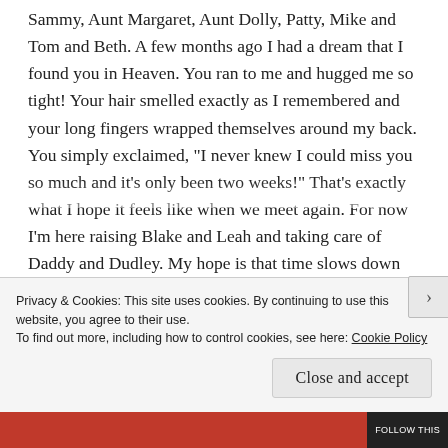Sammy, Aunt Margaret, Aunt Dolly, Patty, Mike and Tom and Beth. A few months ago I had a dream that I found you in Heaven. You ran to me and hugged me so tight! Your hair smelled exactly as I remembered and your long fingers wrapped themselves around my back. You simply exclaimed, "I never knew I could miss you so much and it's only been two weeks!" That's exactly what I hope it feels like when we meet again. For now I'm here raising Blake and Leah and taking care of Daddy and Dudley. My hope is that time slows down enough for you not to miss us too much, although we will always miss you each
Privacy & Cookies: This site uses cookies. By continuing to use this website, you agree to their use.
To find out more, including how to control cookies, see here: Cookie Policy
Close and accept